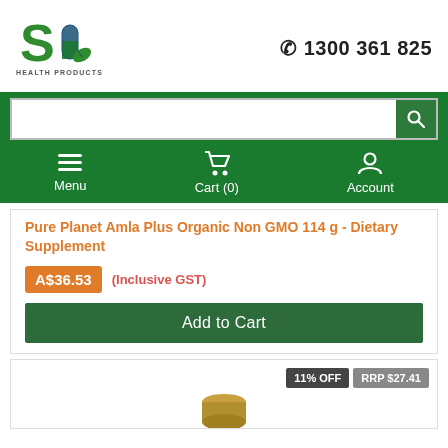[Figure (logo): SO Health Products logo with green S and capsule icon]
✆ 1300 361 825
[Figure (screenshot): Search bar input with magnifying glass button on green background]
[Figure (infographic): Navigation bar with Menu, Cart (0), and Account icons on dark green background]
Pure Planet Amla Plus Organic Non GMO 114 g - Dietary Supplement
A$36.53 (Inclusive GST)
Add to Cart
11% OFF  RRP $27.41